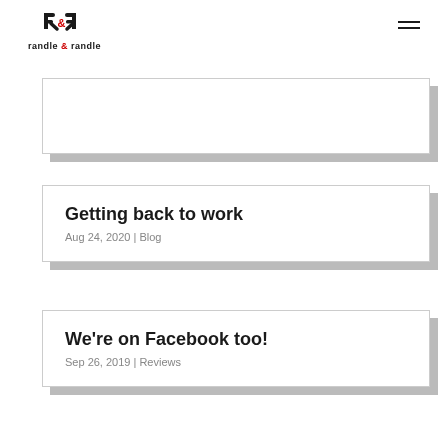[Figure (logo): Randle & Randle logo with stylized RR monogram and text 'randle & randle' below]
Getting back to work
Aug 24, 2020 | Blog
We're on Facebook too!
Sep 26, 2019 | Reviews